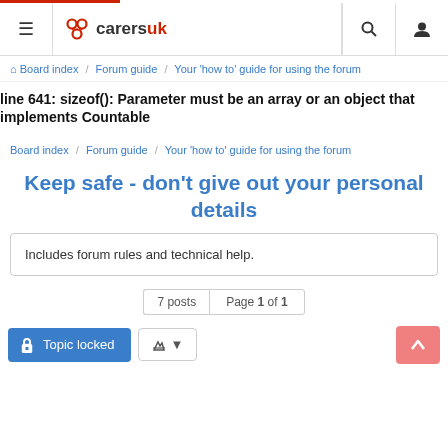≡  carersuk  🔍  👤
Board index / Forum guide / Your 'how to' guide for using the forum
line 641: sizeof(): Parameter must be an array or an object that implements Countable
Board index / Forum guide / Your 'how to' guide for using the forum
Keep safe - don't give out your personal details
Includes forum rules and technical help.
7 posts  Page 1 of 1
Topic locked  🔧 ▾  ▲